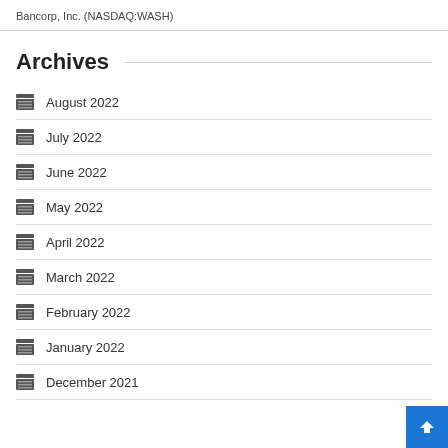Bancorp, Inc. (NASDAQ:WASH)
Archives
August 2022
July 2022
June 2022
May 2022
April 2022
March 2022
February 2022
January 2022
December 2021